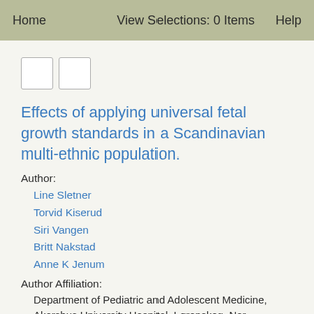Home   View Selections: 0 Items   Help
Effects of applying universal fetal growth standards in a Scandinavian multi-ethnic population.
Author:
Line Sletner
Torvid Kiserud
Siri Vangen
Britt Nakstad
Anne K Jenum
Author Affiliation:
Department of Pediatric and Adolescent Medicine, Akershus University Hospital, Lørenskog, Nor...